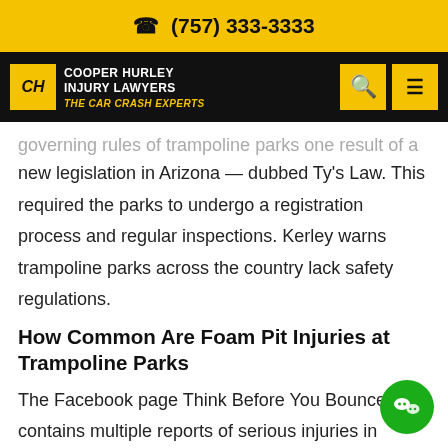(757) 333-3333
COOPER HURLEY INJURY LAWYERS THE CAR CRASH EXPERTS
governing rules of trampoline parks one result of a new legislation in Arizona — dubbed Ty's Law. This required the parks to undergo a registration process and regular inspections. Kerley warns trampoline parks across the country lack safety regulations.
How Common Are Foam Pit Injuries at Trampoline Parks
The Facebook page Think Before You Bounce contains multiple reports of serious injuries in bounce pits. They include the sad story of Christina Flygare, the mother of a Washington teen who broke his neck in a